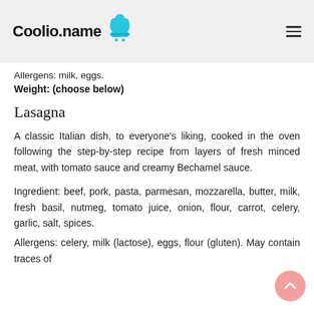Coolio.name
Allergens: milk, eggs.
Weight: (choose below)
Lasagna
A classic Italian dish, to everyone's liking, cooked in the oven following the step-by-step recipe from layers of fresh minced meat, with tomato sauce and creamy Bechamel sauce.
Ingredient: beef, pork, pasta, parmesan, mozzarella, butter, milk, fresh basil, nutmeg, tomato juice, onion, flour, carrot, celery, garlic, salt, spices.
Allergens: celery, milk (lactose), eggs, flour (gluten). May contain traces of